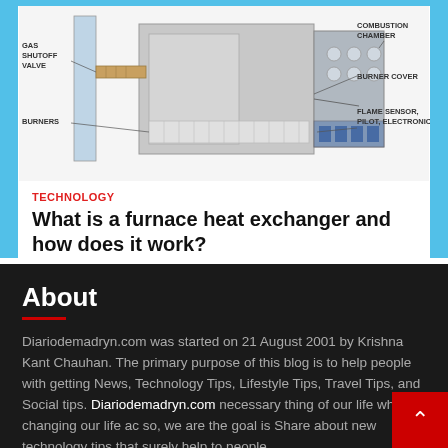[Figure (engineering-diagram): Cross-section diagram of a furnace showing labeled components: Gas Shutoff Valve, Burners, Combustion Chamber, Burner Cover, Flame Sensor/Pilot Electronic]
TECHNOLOGY
What is a furnace heat exchanger and how does it work?
jacqueline  2 weeks ago
About
Diariodemadryn.com was started on 21 August 2001 by Krishna Kant Chauhan. The primary purpose of this blog is to help people with getting News, Technology Tips, Lifestyle Tips, Travel Tips, and Social tips. Diariodemadryn.com necessary thing of our life which is changing our life ac so, we are the goal is Share about new technology tips that surely help to people.